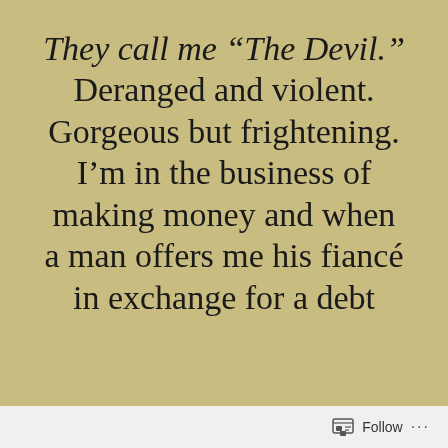They call me "The Devil." Deranged and violent. Gorgeous but frightening. I'm in the business of making money and when a man offers me his fiancé in exchange for a debt
Follow ···